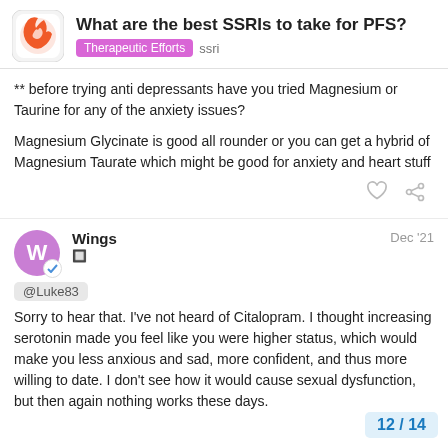What are the best SSRIs to take for PFS? | Therapeutic Efforts | ssri
** before trying anti depressants have you tried Magnesium or Taurine for any of the anxiety issues?

Magnesium Glycinate is good all rounder or you can get a hybrid of Magnesium Taurate which might be good for anxiety and heart stuff
Wings — Dec '21
@Luke83
Sorry to hear that. I've not heard of Citalopram. I thought increasing serotonin made you feel like you were higher status, which would make you less anxious and sad, more confident, and thus more willing to date. I don't see how it would cause sexual dysfunction, but then again nothing works these days.
12 / 14